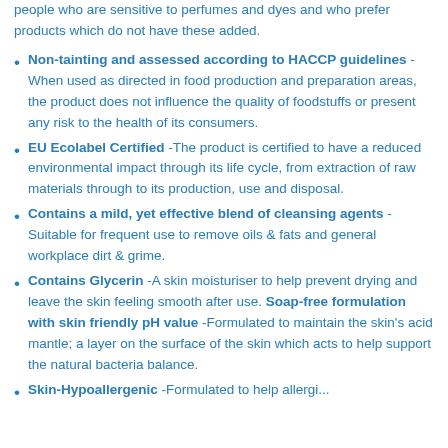people who are sensitive to perfumes and dyes and who prefer products which do not have these added.
Non-tainting and assessed according to HACCP guidelines -When used as directed in food production and preparation areas, the product does not influence the quality of foodstuffs or present any risk to the health of its consumers.
EU Ecolabel Certified -The product is certified to have a reduced environmental impact through its life cycle, from extraction of raw materials through to its production, use and disposal.
Contains a mild, yet effective blend of cleansing agents -Suitable for frequent use to remove oils & fats and general workplace dirt & grime.
Contains Glycerin -A skin moisturiser to help prevent drying and leave the skin feeling smooth after use. Soap-free formulation with skin friendly pH value -Formulated to maintain the skin's acid mantle; a layer on the surface of the skin which acts to help support the natural bacteria balance.
Skin-friendly something -Formulated to help...